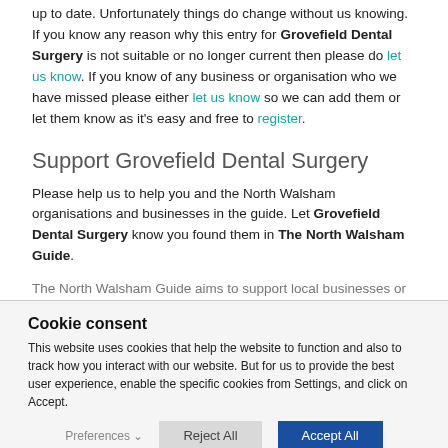up to date. Unfortunately things do change without us knowing. If you know any reason why this entry for Grovefield Dental Surgery is not suitable or no longer current then please do let us know. If you know of any business or organisation who we have missed please either let us know so we can add them or let them know as it's easy and free to register.
Support Grovefield Dental Surgery
Please help us to help you and the North Walsham organisations and businesses in the guide. Let Grovefield Dental Surgery know you found them in The North Walsham Guide.
The North Walsham Guide aims to support local businesses or
Cookie consent
This website uses cookies that help the website to function and also to track how you interact with our website. But for us to provide the best user experience, enable the specific cookies from Settings, and click on Accept.